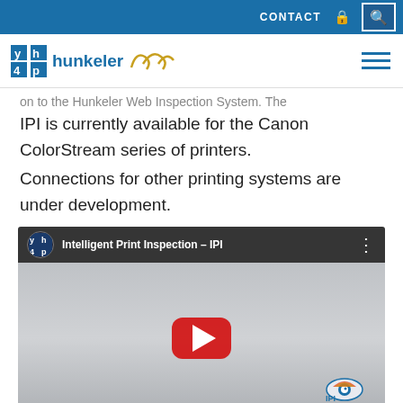CONTACT [lock icon] [search icon] — Hunkeler logo — hamburger menu
on to the Hunkeler Web Inspection System. The IPI is currently available for the Canon ColorStream series of printers. Connections for other printing systems are under development.
[Figure (screenshot): YouTube video thumbnail showing 'Intelligent Print Inspection – IPI' with Hunkeler logo avatar, play button, and IPI equipment rendering including a white box unit, camera/sensor, and display stand with IPI logo in corner.]